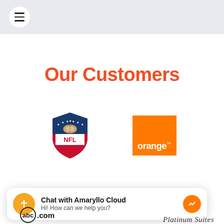Our Customers
[Figure (logo): NFL shield logo with football and stars]
[Figure (logo): Orange telecom logo on orange square background]
Chat with Amaryllo Cloud
Hi! How can we help you?
[Figure (logo): Partial abc.com logo at bottom left]
[Figure (logo): Partial Platinum Suites logo at bottom right]